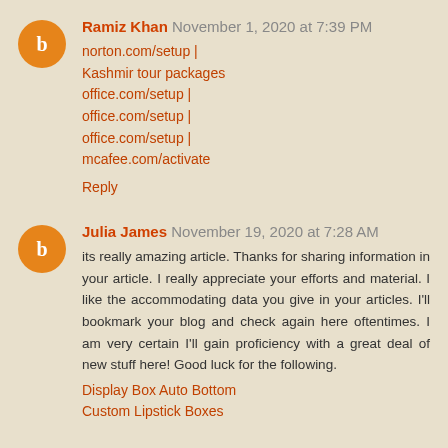Ramiz Khan November 1, 2020 at 7:39 PM
norton.com/setup | Kashmir tour packages
office.com/setup |
office.com/setup |
office.com/setup |
mcafee.com/activate
Reply
Julia James November 19, 2020 at 7:28 AM
its really amazing article. Thanks for sharing information in your article. I really appreciate your efforts and material. I like the accommodating data you give in your articles. I'll bookmark your blog and check again here oftentimes. I am very certain I'll gain proficiency with a great deal of new stuff here! Good luck for the following.
Display Box Auto Bottom
Custom Lipstick Boxes